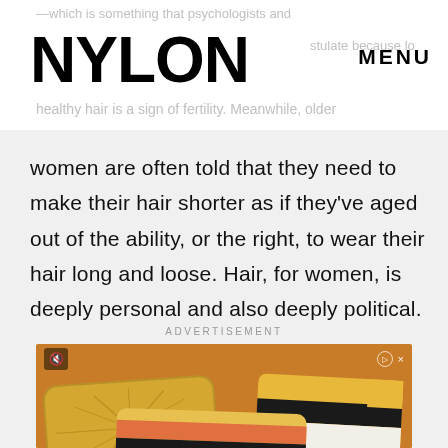NYLON   MENU
—which is something that psychologists and postulate because long healthy hair is a sign of fertility. Meanwhile, older
women are often told that they need to make their hair shorter as if they've aged out of the ability, or the right, to wear their hair long and loose. Hair, for women, is deeply personal and also deeply political.
ADVERTISEMENT
[Figure (photo): Advertisement showing decorative throw pillows on an orange/terracotta background. One pillow is mustard yellow with geometric cross/star pattern, another has multicolor horizontal stripes (yellow, black, white, coral/orange).]